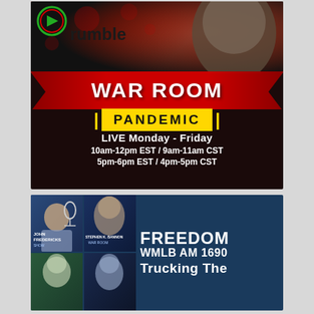[Figure (infographic): Rumble War Room Pandemic promotional ad. Shows Rumble logo at top left with a man's face on the right. Red arrow-shaped banner reads 'WAR ROOM' with 'PANDEMIC' in a yellow bordered box below. White text shows schedule: 'LIVE Monday - Friday', '10am-12pm EST / 9am-11am CST', '5pm-6pm EST / 4pm-5pm CST'.]
[Figure (infographic): Freedom WMLB AM 1690 radio station promotional ad on dark blue background. Left side has photo grid with John Fredericks Show host, Stephen K. Bannon War Room host, and two other hosts. Right side has white bold text: 'FREEDOM', 'WMLB AM 1690', 'Trucking The'.]